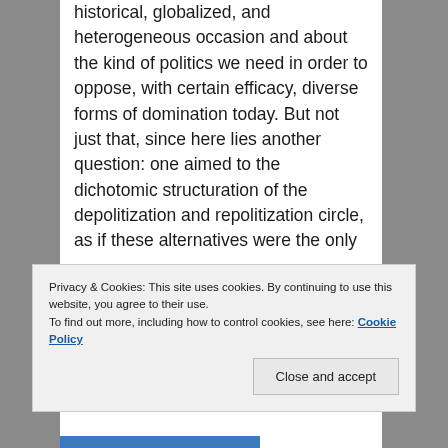historical, globalized, and heterogeneous occasion and about the kind of politics we need in order to oppose, with certain efficacy, diverse forms of domination today. But not just that, since here lies another question: one aimed to the dichotomic structuration of the depolitization and repolitization circle, as if these alternatives were the only
Privacy & Cookies: This site uses cookies. By continuing to use this website, you agree to their use. To find out more, including how to control cookies, see here: Cookie Policy
Close and accept